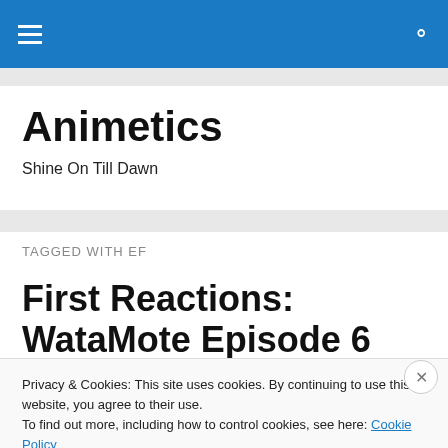Animetics navigation bar
Animetics
Shine On Till Dawn
TAGGED WITH EF
First Reactions: WataMote Episode 6
Privacy & Cookies: This site uses cookies. By continuing to use this website, you agree to their use.
To find out more, including how to control cookies, see here: Cookie Policy
Close and accept